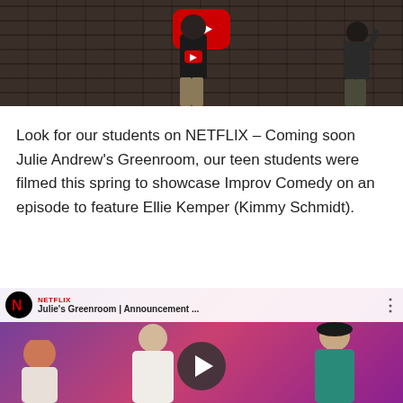[Figure (screenshot): YouTube video thumbnail showing people dancing/performing in front of a brick wall background, with YouTube play button overlay at top]
Look for our students on NETFLIX – Coming soon Julie Andrew's Greenroom, our teen students were filmed this spring to showcase Improv Comedy on an episode to feature Ellie Kemper (Kimmy Schmidt).
[Figure (screenshot): Netflix YouTube video embed showing 'Julie's Greenroom | Announcement ...' with Netflix logo, people sitting including an older woman and younger man, with YouTube play button overlay]